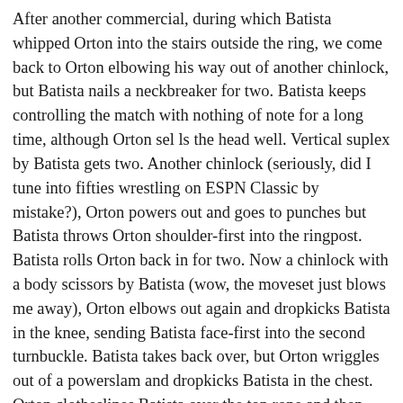After another commercial, during which Batista whipped Orton into the stairs outside the ring, we come back to Orton elbowing his way out of another chinlock, but Batista nails a neckbreaker for two. Batista keeps controlling the match with nothing of note for a long time, although Orton sel ls the head well. Vertical suplex by Batista gets two. Another chinlock (seriously, did I tune into fifties wrestling on ESPN Classic by mistake?), Orton powers out and goes to punches but Batista throws Orton shoulder-first into the ringpost. Batista rolls Orton back in for two. Now a chinlock with a body scissors by Batista (wow, the moveset just blows me away), Orton elbows out again and dropkicks Batista in the knee, sending Batista face-first into the second turnbuckle. Batista takes back over, but Orton wriggles out of a powerslam and dropkicks Batista in the chest. Orton clotheslines Batista over the top rope and then DDTs Batista on the outside. Back in the ring Orton goes to the top, fights Batista off (including biting Batista in the forehead), and nails Batista with a high-cross body for two. Orton nails that weird backbreaker of his, then tries another